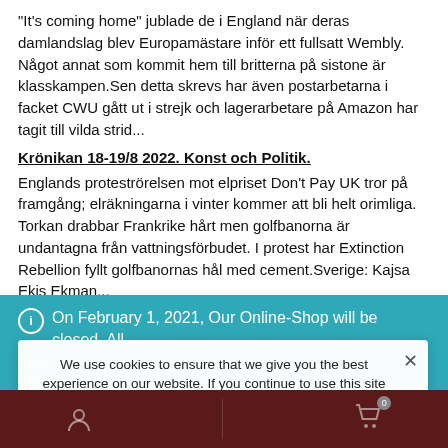"It's coming home" jublade de i England när deras damlandslag blev Europamästare inför ett fullsatt Wembly. Något annat som kommit hem till britterna på sistone är klasskampen.Sen detta skrevs har även postarbetarna i facket CWU gått ut i strejk och lagerarbetare på Amazon har tagit till vilda strid...
Krönikan 18-19/8 2022. Konst och Politik.
Englands proteströrelsen mot elpriset Don't Pay UK tror på framgång; elräkningarna i vinter kommer att bli helt orimliga. Torkan drabbar Frankrike hårt men golfbanorna är undantagna från vattningsförbudet. I protest har Extinction Rebellion fyllt golfbanornas hål med cement.Sverige: Kajsa Ekis Ekman...
Take Concrete Action: Info Meeting
On February 1, 2021, Our Online-Shop will be closed. All orders until January 31 will be delivered
Dismiss
We use cookies to ensure that we give you the best experience on our website. If you continue to use this site we will assume that you are happy with it.
Ok